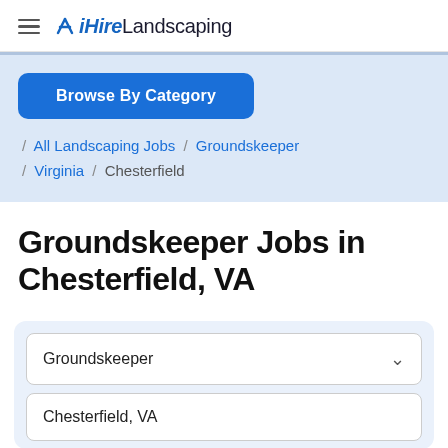≡ ✕ iHireLandscaping
Browse By Category
/ All Landscaping Jobs / Groundskeeper / Virginia / Chesterfield
Groundskeeper Jobs in Chesterfield, VA
Groundskeeper
Chesterfield, VA